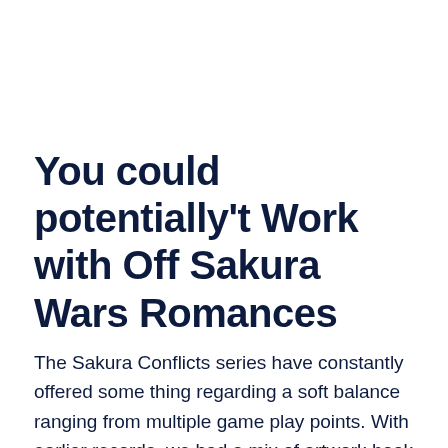You could potentially't Work with Off Sakura Wars Romances
The Sakura Conflicts series have constantly offered some thing regarding a soft balance ranging from multiple game play points. With earlier records, we had a mix of artwork book and proper suits. In the restart, which is truth be told there, except the experience is a